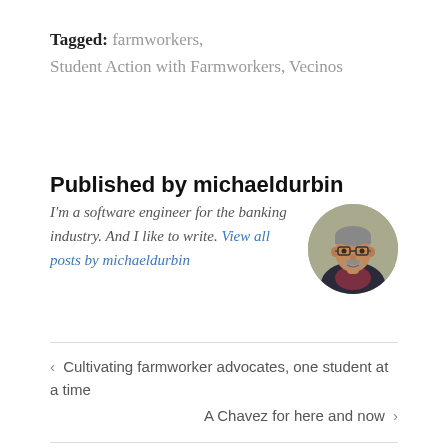Tagged: farmworkers, Student Action with Farmworkers, Vecinos
Published by michaeldurbin
I'm a software engineer for the banking industry. And I like to write. View all posts by michaeldurbin
[Figure (photo): Circular profile photo of michaeldurbin, a middle-aged man with glasses and a beard, wearing a dark jacket]
< Cultivating farmworker advocates, one student at a time
A Chavez for here and now >